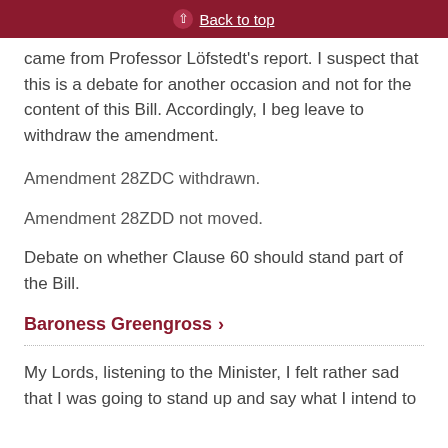Back to top
came from Professor Löfstedt's report. I suspect that this is a debate for another occasion and not for the content of this Bill. Accordingly, I beg leave to withdraw the amendment.
Amendment 28ZDC withdrawn.
Amendment 28ZDD not moved.
Debate on whether Clause 60 should stand part of the Bill.
Baroness Greengross
My Lords, listening to the Minister, I felt rather sad that I was going to stand up and say what I intend to say...